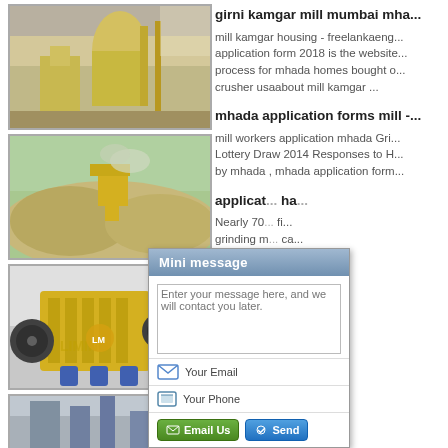[Figure (photo): Industrial grinding mill facility interior with large yellow equipment]
[Figure (photo): Outdoor quarry or mining site with yellow machinery and piles of sand/gravel]
[Figure (photo): Yellow jaw crusher machine (LIMING brand) in industrial facility]
[Figure (photo): Industrial machinery partial view]
girni kamgar mill mumbai mha...
mill kamgar housing - freelankaeng... application form 2018 is the website... process for mhada homes bought o... crusher usaabout mill kamgar ...
mhada application forms mill -...
mill workers application mhada Gri... Lottery Draw 2014 Responses to H... by mhada , mhada application form...
applicat... ha...
Nearly 70... fi... grinding m... ca... mill worke...
mhada o... w...
[Figure (screenshot): Mini message popup dialog with text area, email input, phone input, Email Us and Send buttons]